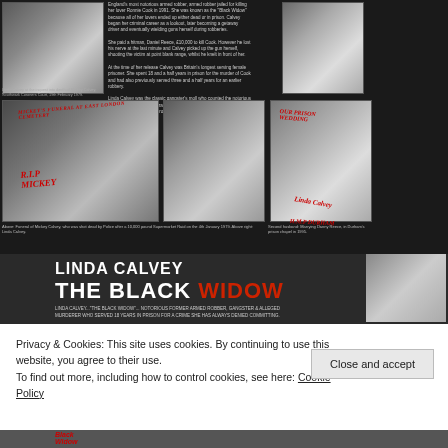[Figure (photo): Dark collage board showing multiple black and white photographs of Linda Calvey and associated individuals, with red handwritten annotations including 'R.I.P MICKEY', 'MICKEY'S FUNERAL AT EAST LONDON CEMETERY', 'OUR PRISON WEDDING', 'Linda Calvey', 'H.M.P DURHAM'. Photos include: Linda Calvey at inquest, Mickey Calvey's funeral, portrait of Linda Calvey, and prison wedding photo. Accompanying text describes Linda Calvey as the 'Black Widow' armed robber and gangster's moll.]
[Figure (photo): Banner advertisement for Linda Calvey 'The Black Widow' with large bold white text, red 'WIDOW' text, spider graphic on left, and small photos of Linda Calvey with associates on the right. Subtitle reads: LINDA CALVEY... 'THE BLACK WIDOW'... NOTORIOUS FORMER ARMED ROBBER, GANGSTER & ALLEGED MURDERER WHO SERVED 18 YEARS IN PRISON FOR A CRIME SHE HAS ALWAYS DENIED COMMITTING.]
Privacy & Cookies: This site uses cookies. By continuing to use this website, you agree to their use.
To find out more, including how to control cookies, see here: Cookie Policy
Close and accept
[Figure (photo): Bottom strip showing partial photograph with red handwritten 'Black Widow' text visible.]